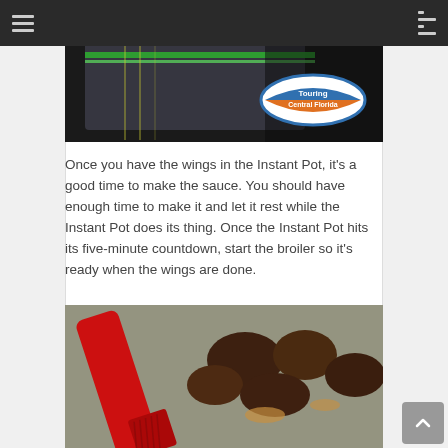[Figure (photo): A ziplock bag partially visible with green zipper seal on a dark background, with an oval 'Touring Central Florida' logo in blue and orange visible in the lower right of the image.]
Once you have the wings in the Instant Pot, it's a good time to make the sauce. You should have enough time to make it and let it rest while the Instant Pot does its thing. Once the Instant Pot hits its five-minute countdown, start the broiler so it's ready when the wings are done.
[Figure (photo): A red silicone basting brush in the foreground with cooked chicken wings on a foil-lined baking sheet in the background, showing golden-brown crispy wings.]